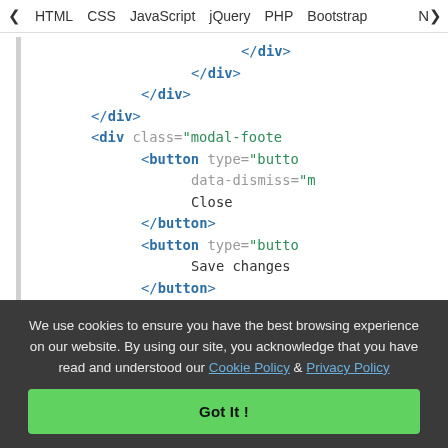< HTML   CSS   JavaScript   jQuery   PHP   Bootstrap   N>
[Figure (screenshot): Code editor screenshot showing indented HTML closing div tags and modal-footer div with button elements containing Close and Save changes text, with type and data-dismiss attributes partially visible]
We use cookies to ensure you have the best browsing experience on our website. By using our site, you acknowledge that you have read and understood our Cookie Policy & Privacy Policy
Got It !